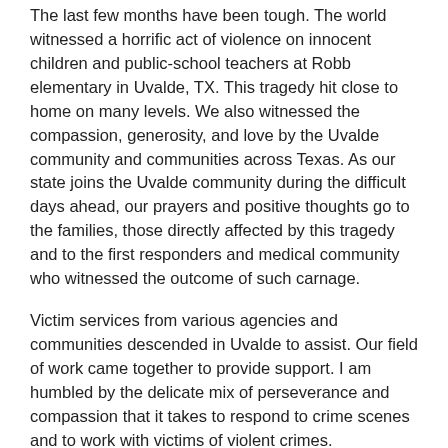The last few months have been tough. The world witnessed a horrific act of violence on innocent children and public-school teachers at Robb elementary in Uvalde, TX. This tragedy hit close to home on many levels. We also witnessed the compassion, generosity, and love by the Uvalde community and communities across Texas. As our state joins the Uvalde community during the difficult days ahead, our prayers and positive thoughts go to the families, those directly affected by this tragedy and to the first responders and medical community who witnessed the outcome of such carnage.
Victim services from various agencies and communities descended in Uvalde to assist. Our field of work came together to provide support. I am humbled by the delicate mix of perseverance and compassion that it takes to respond to crime scenes and to work with victims of violent crimes.